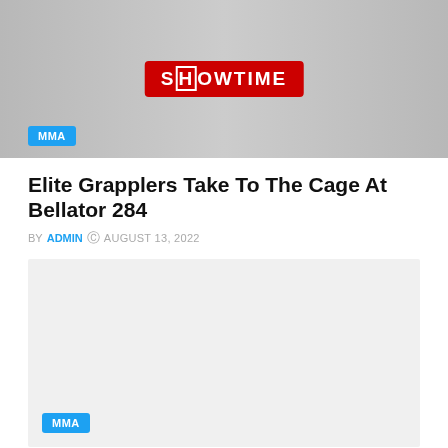[Figure (photo): Promotional image for Bellator 284 showing fighters with a Showtime logo on a red background, with an MMA category tag in the lower left corner]
Elite Grapplers Take To The Cage At Bellator 284
BY ADMIN © AUGUST 13, 2022
[Figure (photo): Light gray placeholder image for a second MMA article with an MMA category tag in the lower left corner]
Cesar Gracie Believes Nate Diaz Is Better Than